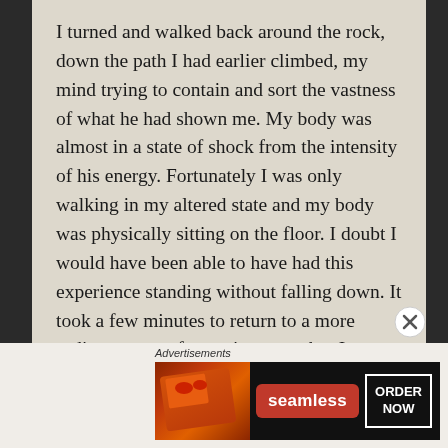I turned and walked back around the rock, down the path I had earlier climbed, my mind trying to contain and sort the vastness of what he had shown me. My body was almost in a state of shock from the intensity of his energy. Fortunately I was only walking in my altered state and my body was physically sitting on the floor. I doubt I would have been able to have had this experience standing without falling down. It took a few minutes to return to a more ordinary state of consciousness, but I was able to remember to instruct the others to do so too.
Each of us in the group took a turn in describing what had happened to them, and everyone else had also had an equally powerful experience.
[Figure (screenshot): Advertisement banner for Seamless food delivery service showing pizza image on left, Seamless red logo in center, and 'ORDER NOW' button on right against dark background]